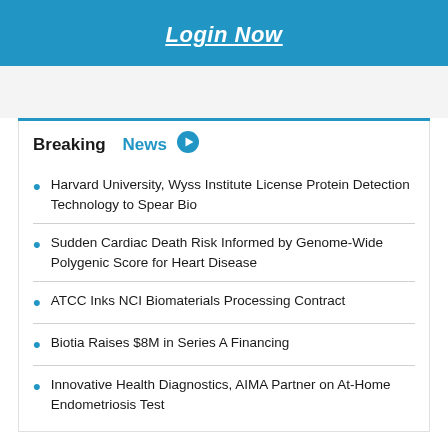Login Now
Breaking News
Harvard University, Wyss Institute License Protein Detection Technology to Spear Bio
Sudden Cardiac Death Risk Informed by Genome-Wide Polygenic Score for Heart Disease
ATCC Inks NCI Biomaterials Processing Contract
Biotia Raises $8M in Series A Financing
Innovative Health Diagnostics, AIMA Partner on At-Home Endometriosis Test